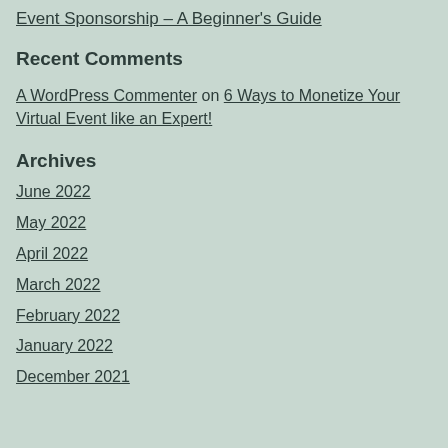Event Sponsorship – A Beginner's Guide
Recent Comments
A WordPress Commenter on 6 Ways to Monetize Your Virtual Event like an Expert!
Archives
June 2022
May 2022
April 2022
March 2022
February 2022
January 2022
December 2021